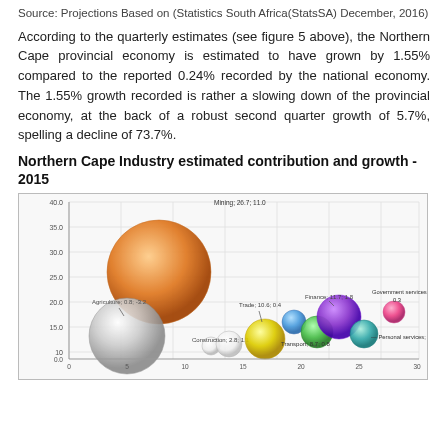Source: Projections Based on (Statistics South Africa(StatsSA) December, 2016)
According to the quarterly estimates (see figure 5 above), the Northern Cape provincial economy is estimated to have grown by 1.55% compared to the reported 0.24% recorded by the national economy. The 1.55% growth recorded is rather a slowing down of the provincial economy, at the back of a robust second quarter growth of 5.7%, spelling a decline of 73.7%.
Northern Cape Industry estimated contribution and growth - 2015
[Figure (bubble-chart): Bubble chart showing various industries plotted by contribution and growth. Mining (26.7; 11.0) is the largest bubble (orange) at top. Agriculture (0.8; -3.2) is a large grey bubble at bottom left. Finance (11.7; 1.8) is a purple bubble mid-right. Government services (13.5; 0.3) is a pink bubble top right. Trade (10.6; 0.4) is a light blue bubble centre. Construction (2.8; 1.1) is a small white/light bubble. Transport (8.7; 0.8) is a teal/blue bubble. Personal services (4.2; 0.6) small bubble right. Axes show values from approximately 0 to 40 on Y axis.]